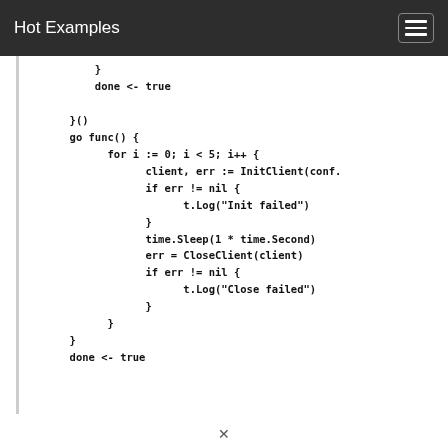Hot Examples
}
        done <- true

        }()
        go func() {
              for i := 0; i < 5; i++ {
                    client, err := InitClient(conf.
                    if err != nil {
                          t.Log("Init failed")
                    }
                    time.Sleep(1 * time.Second)
                    err = CloseClient(client)
                    if err != nil {
                          t.Log("Close failed")
                    }
              }
        }
        done <- true